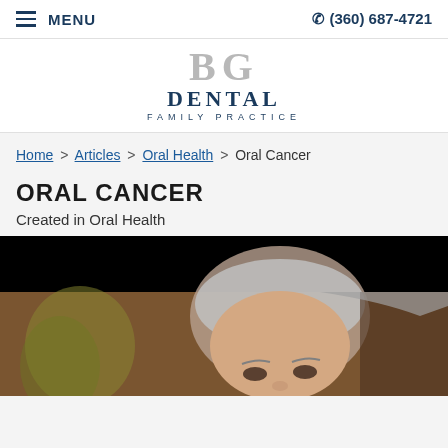≡ MENU   ✆ (360) 687-4721
[Figure (logo): BG Dental Family Practice logo with stylized letters BG above the text DENTAL FAMILY PRACTICE]
Home > Articles > Oral Health > Oral Cancer
ORAL CANCER
Created in Oral Health
[Figure (photo): Photo of an older man with grey hair, partially cropped, with a black bar at the top of the image frame]